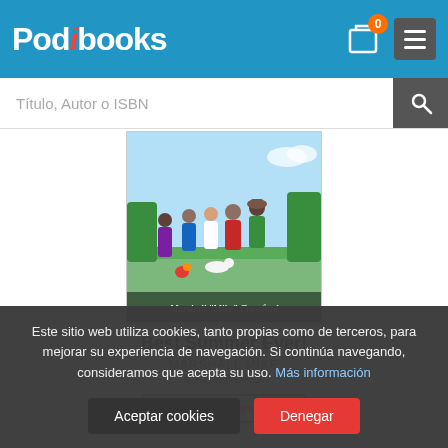Podibooks
Título, Autor o ISBN
[Figure (illustration): Book cover illustration for 'Best Summer Ever!' by Marshall Mike Crawford, showing several children and adults standing outdoors in a rural setting with animals]
Best Summer Ever!
MARSHALL MIKE CRAWFORD
Consulta disponibilidad
Este sitio web utiliza cookies, tanto propias como de terceros, para mejorar su experiencia de navegación. Si continúa navegando, consideramos que acepta su uso. Más información
Aceptar cookies
Denegar